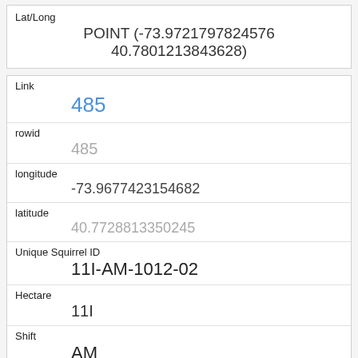| Field | Value |
| --- | --- |
| Lat/Long | POINT (-73.9721797824576 40.7801213843628) |
| Link | 485 |
| rowid | 485 |
| longitude | -73.9677423154682 |
| latitude | 40.7728813350245 |
| Unique Squirrel ID | 11I-AM-1012-02 |
| Hectare | 11I |
| Shift | AM |
| Date | 10122018 |
| Hectare Squirrel Number | 2 |